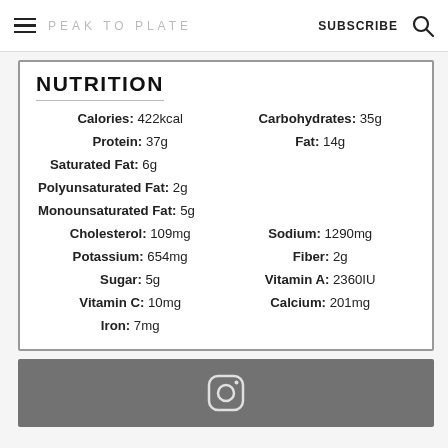PEAK TO PLATE  SUBSCRIBE
NUTRITION
| Nutrient | Value |
| --- | --- |
| Calories | 422kcal |
| Carbohydrates | 35g |
| Protein | 37g |
| Fat | 14g |
| Saturated Fat | 6g |
| Polyunsaturated Fat | 2g |
| Monounsaturated Fat | 5g |
| Cholesterol | 109mg |
| Sodium | 1290mg |
| Potassium | 654mg |
| Fiber | 2g |
| Sugar | 5g |
| Vitamin A | 2360IU |
| Vitamin C | 10mg |
| Calcium | 201mg |
| Iron | 7mg |
[Figure (photo): Dark grey/brown image area with an Instagram icon, indicating a social media embed or photo placeholder]